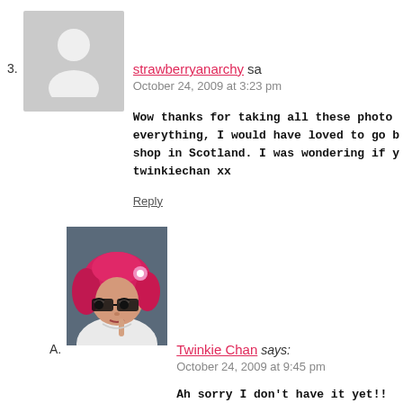3. strawberryanarchy says October 24, 2009 at 3:23 pm
Wow thanks for taking all these photos everything, I would have loved to go shop in Scotland. I was wondering if y twinkiechan xx
Reply
[Figure (photo): Avatar photo of a woman with bright pink/red hair, big-framed glasses, wearing white top, looking sideways with finger near lips]
A. Twinkie Chan says October 24, 2009 at 9:45 pm
Ah sorry I don't have it yet!! I've b tho!!!